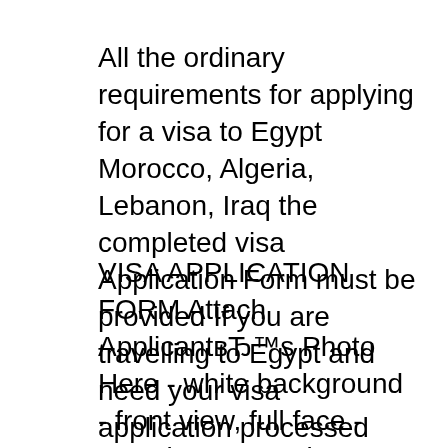All the ordinary requirements for applying for a visa to Egypt Morocco, Algeria, Lebanon, Iraq the completed visa Application Form must be provided If you are travelling to Egypt and need your visa application processed quickly, make TravelDocs your first stop for all the information you need for obtaining you
VISA APPLICATION FORM Attach ApplicantвЂ™s Photo Here - white background - front view, full face - must be recent picture 01 - Full Name (as per passport) Welcome to TLScontact in Lebanon. The TLScontact center application Our aim is to help you